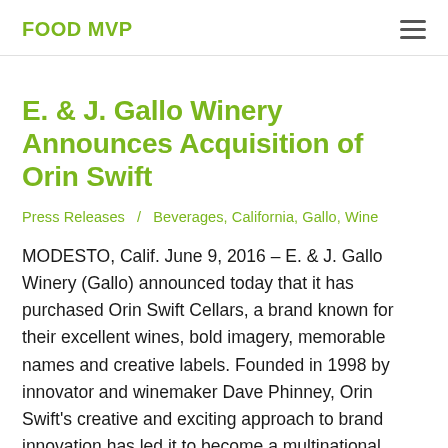FOOD MVP
E. & J. Gallo Winery Announces Acquisition of Orin Swift
Press Releases / Beverages, California, Gallo, Wine
MODESTO, Calif. June 9, 2016 – E. & J. Gallo Winery (Gallo) announced today that it has purchased Orin Swift Cellars, a brand known for their excellent wines, bold imagery, memorable names and creative labels. Founded in 1998 by innovator and winemaker Dave Phinney, Orin Swift's creative and exciting approach to brand innovation has led it to become a multinational luxury wine brand with a large consumer